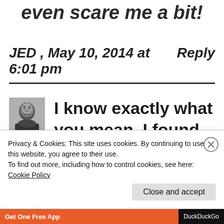even scare me a bit!
JED , May 10, 2014 at 6:01 pm   Reply
[Figure (photo): Avatar photo of a person with dark beard, shown in a small square thumbnail]
I know exactly what you mean. I found out years after
Privacy & Cookies: This site uses cookies. By continuing to use this website, you agree to their use.
To find out more, including how to control cookies, see here: Cookie Policy
Close and accept